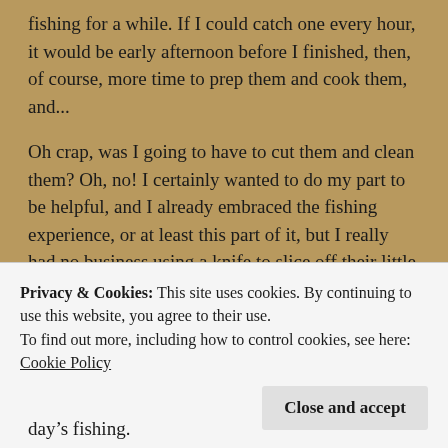fishing for a while.  If I could catch one every hour, it would be early afternoon before I finished, then, of course, more time to prep them and cook them, and...
Oh crap, was I going to have to cut them and clean them?  Oh, no!  I certainly wanted to do my part to be helpful, and I already embraced the fishing experience, or at least this part of it, but I really had no business using a knife to slice off their little heads and cut open their guts and filet their little skeletons.
“Oh, so sorry, guys.  If I had any other choice, I’d throw
Privacy & Cookies: This site uses cookies. By continuing to use this website, you agree to their use.
To find out more, including how to control cookies, see here: Cookie Policy
day’s fishing.